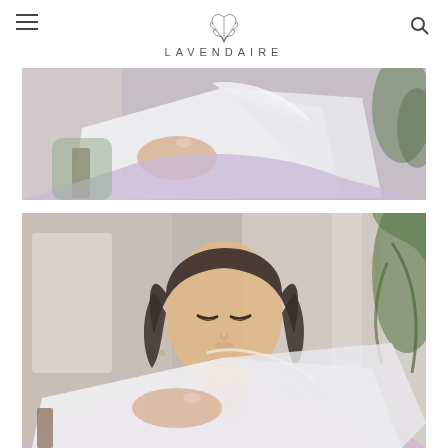LAVENDAIRE
[Figure (photo): Close-up photo of a woman in a lavender fuzzy sweater holding and flipping through a large white book or magazine, with green plants in background]
[Figure (photo): Photo of a young Asian woman with shoulder-length dark hair in a lavender fuzzy sweater, looking down and smiling while reading a large white book or magazine, with plants and bright window in background]